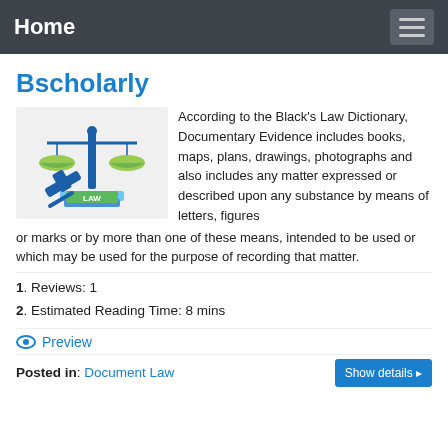Home
Bscholarly
[Figure (illustration): Scales of justice with blue gavel and stack of books with LAW label, on light grey background]
According to the Black's Law Dictionary, Documentary Evidence includes books, maps, plans, drawings, photographs and also includes any matter expressed or described upon any substance by means of letters, figures or marks or by more than one of these means, intended to be used or which may be used for the purpose of recording that matter.
1. Reviews: 1
2. Estimated Reading Time: 8 mins
Preview
Posted in: Document Law